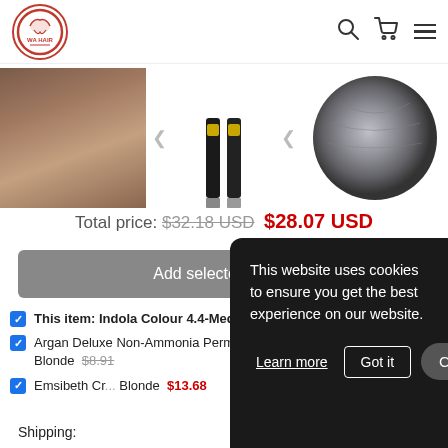[Figure (logo): WA HAIR logo - circular red border with stylized hair icon and text]
[Figure (photo): Product images row: brown hair color swatch, two product tubes, round hair model photo]
Total price: $32.18 USD $28.07 USD
Add selected to cart
This item: Indola Colour 4.4-Medium Brown Copper $9.59 USD
Argan Deluxe Non-Ammonia Permanent Colour 6/7 Dark Khaki Blonde $8.91
Emsibeth Cr... Blonde $13.68
Shipping:
This website uses cookies to ensure you get the best experience on our website.
Learn more  Got it  Chat with us